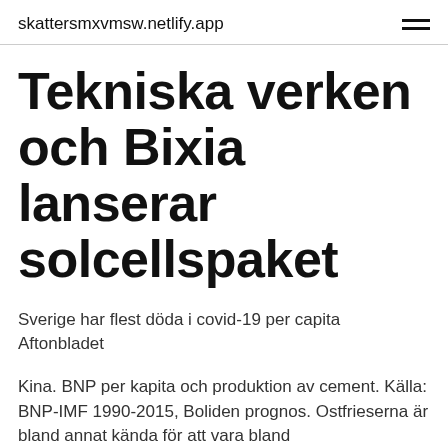skattersmxvmsw.netlify.app
Tekniska verken och Bixia lanserar solcellspaket
Sverige har flest döda i covid-19 per capita Aftonbladet
Kina. BNP per kapita och produktion av cement. Källa: BNP-IMF 1990-2015, Boliden prognos. Ostfrieserna är bland annat kända för att vara bland